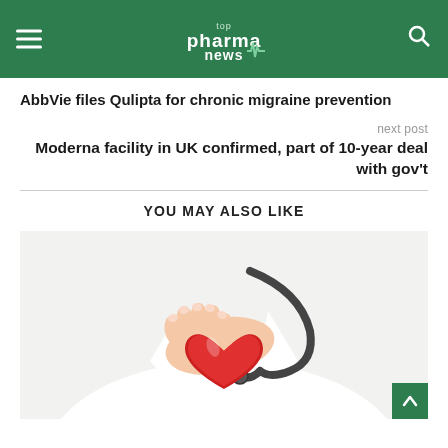top pharma news
AbbVie files Qulipta for chronic migraine prevention
next post
Moderna facility in UK confirmed, part of 10-year deal with gov't
YOU MAY ALSO LIKE
[Figure (photo): Doctor in white coat holding a red heart shape with a stethoscope visible, suggesting cardiology or healthcare theme]